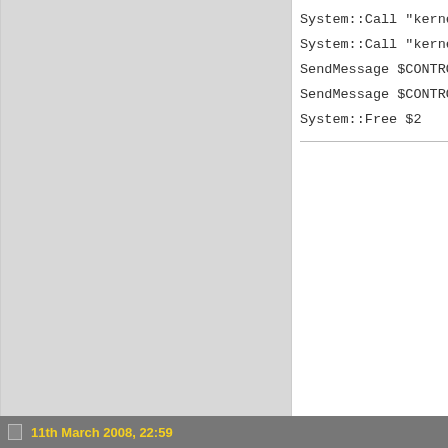System::Call "kernel32::ReadFile(i
System::Call "kernel32::CloseHandle
SendMessage $CONTROL ${EM_EXLIMITT
SendMessage $CONTROL ${WM_SETTEXT}
System::Free $2
11th March 2008, 22:55
Anders
Moderator
Join Date: Jun 2002
Location: ${NSISDIR}
Posts: 5,505
that changes nothing, thats only the length, ev
Attached Files
test2.rtf.txt (284 Bytes, 896 views)
IntOp $PostCount $PostCount + 1
11th March 2008, 22:59